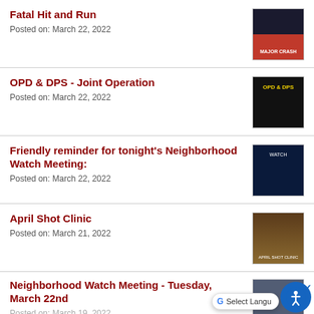Fatal Hit and Run
Posted on: March 22, 2022
[Figure (photo): Police car at night with text MAJOR CRASH]
OPD & DPS - Joint Operation
Posted on: March 22, 2022
[Figure (photo): Dark flyer with OPD & DPS text in yellow]
Friendly reminder for tonight's Neighborhood Watch Meeting:
Posted on: March 22, 2022
[Figure (photo): Dark blue neighborhood watch meeting flyer]
April Shot Clinic
Posted on: March 21, 2022
[Figure (photo): Brown flyer for April Shot Clinic with animals]
Neighborhood Watch Meeting - Tuesday, March 22nd
Posted on: March 19, 2022